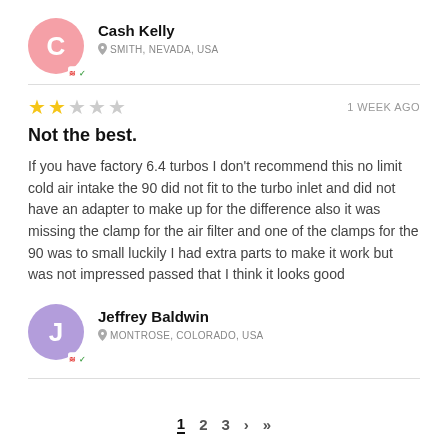Cash Kelly — SMITH, NEVADA, USA
★★☆☆☆ — 1 WEEK AGO
Not the best.
If you have factory 6.4 turbos I don't recommend this no limit cold air intake the 90 did not fit to the turbo inlet and did not have an adapter to make up for the difference also it was missing the clamp for the air filter and one of the clamps for the 90 was to small luckily I had extra parts to make it work but was not impressed passed that I think it looks good
Jeffrey Baldwin — MONTROSE, COLORADO, USA
1  2  3  >  »